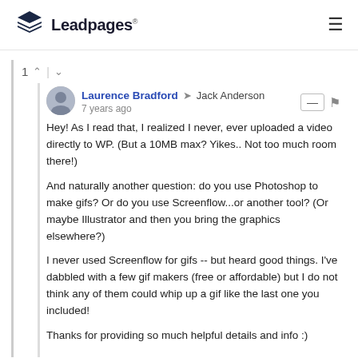[Figure (logo): Leadpages logo with stacked layers icon and text 'Leadpages']
1 ↑ | ↓
Laurence Bradford → Jack Anderson · 7 years ago
Hey! As I read that, I realized I never, ever uploaded a video directly to WP. (But a 10MB max? Yikes.. Not too much room there!)

And naturally another question: do you use Photoshop to make gifs? Or do you use Screenflow...or another tool? (Or maybe Illustrator and then you bring the graphics elsewhere?)

I never used Screenflow for gifs -- but heard good things. I've dabbled with a few gif makers (free or affordable) but I do not think any of them could whip up a gif like the last one you included!

Thanks for providing so much helpful details and info :)